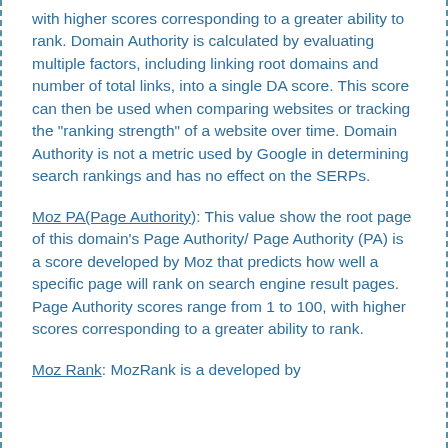with higher scores corresponding to a greater ability to rank. Domain Authority is calculated by evaluating multiple factors, including linking root domains and number of total links, into a single DA score. This score can then be used when comparing websites or tracking the "ranking strength" of a website over time. Domain Authority is not a metric used by Google in determining search rankings and has no effect on the SERPs.
Moz PA(Page Authority): This value show the root page of this domain's Page Authority/ Page Authority (PA) is a score developed by Moz that predicts how well a specific page will rank on search engine result pages. Page Authority scores range from 1 to 100, with higher scores corresponding to a greater ability to rank.
Moz Rank: MozRank is a developed by